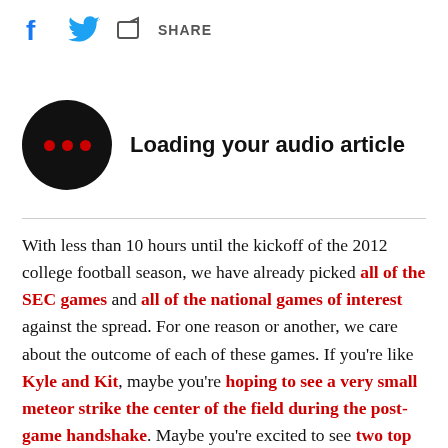[Figure (infographic): Social share bar with Facebook, Twitter, and share icons, and SHARE label]
[Figure (infographic): Audio article player: black circle with three red dots, next to text 'Loading your audio article']
With less than 10 hours until the kickoff of the 2012 college football season, we have already picked all of the SEC games and all of the national games of interest against the spread. For one reason or another, we care about the outcome of each of these games. If you're like Kyle and Kit, maybe you're hoping to see a very small meteor strike the center of the field during the post-game handshake. Maybe you're excited to see two top 25 teams playing on a Friday night. Or maybe there just isn't anything else on TV this Sunday afternoon. But